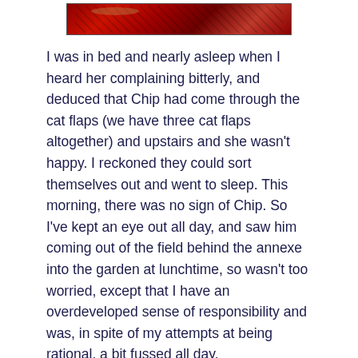[Figure (photo): A strip of decorative red patterned fabric or textile at the top of the page]
I was in bed and nearly asleep when I heard her complaining bitterly, and deduced that Chip had come through the cat flaps (we have three cat flaps altogether) and upstairs and she wasn't happy.  I reckoned they could sort themselves out and went to sleep.  This morning, there was no sign of Chip.  So I've kept an eye out all day, and saw him coming out of the field behind the annexe into the garden at lunchtime, so wasn't too worried, except that I have an overdeveloped sense of responsibility and was, in spite of my attempts at being rational, a bit fussed all day.
They've had a tedious journey back, having spent a long time stuck on the M25 – I'd lit the fire for them to welcome them and, gazing anxiously outside yet again, saw Chip in the garden.  He wouldn't come near me, but at least Rummy came indoors (as he had earlier, to eat).  But as soon as Rose and Lawrence arrived, of course Chip strolled towards